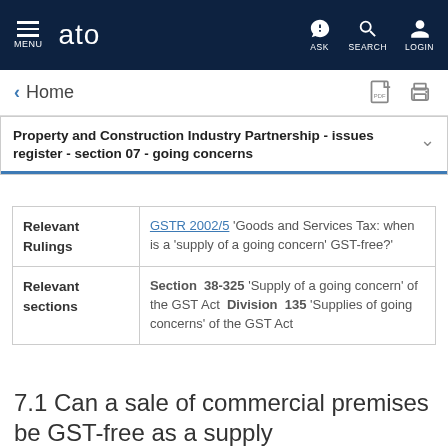MENU | ato | ASK | SEARCH | LOGIN
< Home
Property and Construction Industry Partnership - issues register - section 07 - going concerns
| Relevant Rulings | GSTR 2002/5 'Goods and Services Tax: when is a 'supply of a going concern' GST-free?' |
| Relevant sections | Section 38-325 'Supply of a going concern' of the GST Act  Division 135 'Supplies of going concerns' of the GST Act |
7.1 Can a sale of commercial premises be GST-free as a supply